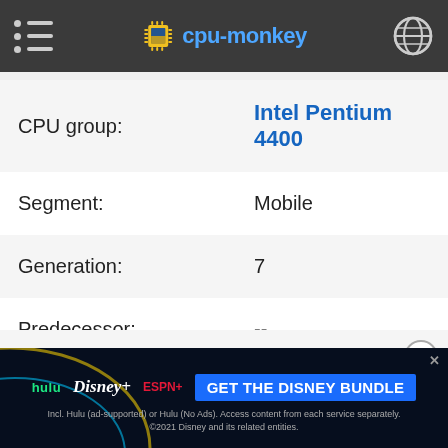cpu-monkey
| Property | Value |
| --- | --- |
| CPU group: | Intel Pentium 4400 |
| Segment: | Mobile |
| Generation: | 7 |
| Predecessor: | -- |
| Successor: | -- |
[Figure (screenshot): Disney Bundle advertisement banner with Hulu, Disney+, ESPN+ logos and GET THE DISNEY BUNDLE CTA]